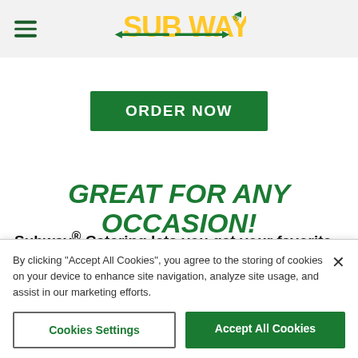SUBWAY (logo) with hamburger menu
[Figure (logo): Subway logo with yellow and green lettering and arrow]
ORDER NOW
GREAT FOR ANY OCCASION!
Subway® Catering lets you get your favorite
By clicking "Accept All Cookies", you agree to the storing of cookies on your device to enhance site navigation, analyze site usage, and assist in our marketing efforts.
Cookies Settings
Accept All Cookies